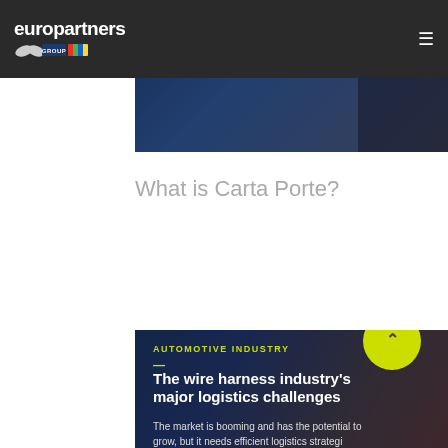europartners GROUP
[Figure (photo): Partially visible banner image with text about additional information on transport modes, dark blue background with a person partially visible]
What is Carta Porte?
[Figure (photo): Dark banner card with automotive industry category label, title 'The wire harness industry's major logistics challenges', and body text 'The market is booming and has the potential to grow, but it needs efficient logistics strategies.']